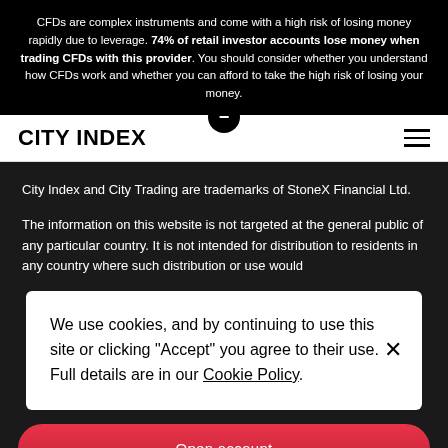CFDs are complex instruments and come with a high risk of losing money rapidly due to leverage. 74% of retail investor accounts lose money when trading CFDs with this provider. You should consider whether you understand how CFDs work and whether you can afford to take the high risk of losing your money.
CITY INDEX
City Index and City Trading are trademarks of StoneX Financial Ltd.
The information on this website is not targeted at the general public of any particular country. It is not intended for distribution to residents in any country where such distribution or use would
We use cookies, and by continuing to use this site or clicking "Accept" you agree to their use. Full details are in our Cookie Policy.
Open account